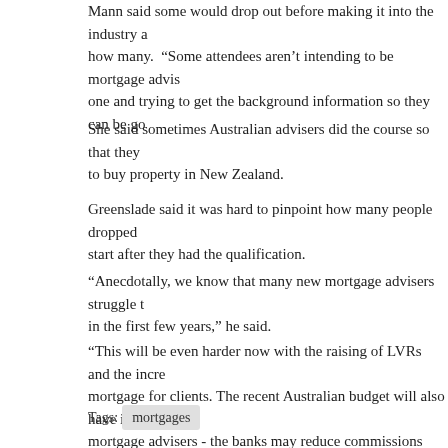Mann said some would drop out before making it into the industry and it was hard to say how many.  “Some attendees aren’t intending to be mortgage advisers, but are considering one and trying to get the background information so they can be go…
She said sometimes Australian advisers did the course so that they could help clients to buy property in New Zealand.
Greenslade said it was hard to pinpoint how many people dropped out or decided not to start after they had the qualification.
“Anecdotally, we know that many new mortgage advisers struggle to build a business in the first few years,” he said.
“This will be even harder now with the raising of LVRs and the incre… mortgage for clients. The recent Australian budget will also have im… mortgage advisers - the banks may reduce commissions plus focus… rather than growing their books. Therefore, a larger number of mor… it significantly tougher over the next two years. One of the mortgag… successful in recent years is Chinese advisers working with Chines… investment properties. The ability to remit funds from China has go… slowed considerably. Therefore a number of new Chinese mortgag… struggling unless they have a large network of Chinese clients they…
Tags: mortgages